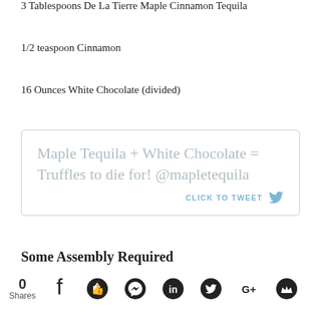3 Tablespoons De La Tierre Maple Cinnamon Tequila
1/2 teaspoon Cinnamon
16 Ounces White Chocolate (divided)
[Figure (screenshot): Tweet box with quote: Maple Tequila + White Chocolate = Truffles to die for! @mapletequila, with CLICK TO TWEET link]
Some Assembly Required
[Figure (photo): Partially visible food photo with social share bar at bottom showing 0 Shares, Facebook, Like, Messenger, LinkedIn, Twitter, Google+, and crown icons, plus a gray tooltip box]